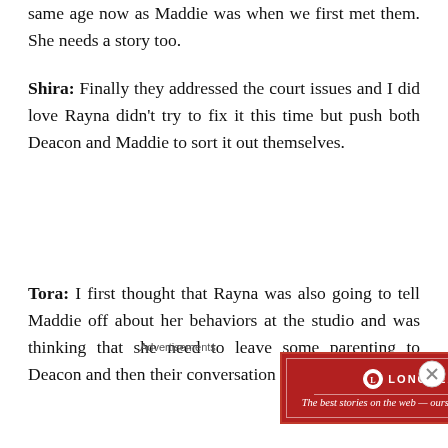same age now as Maddie was when we first met them. She needs a story too.
Shira: Finally they addressed the court issues and I did love Rayna didn't try to fix it this time but push both Deacon and Maddie to sort it out themselves.
Tora: I first thought that Rayna was also going to tell Maddie off about her behaviors at the studio and was thinking that she need to leave some parenting to Deacon and then their conversation
Advertisements
[Figure (other): Longreads advertisement banner: red background with Longreads logo and tagline 'The best stories on the web — ours, and everyone else's.']